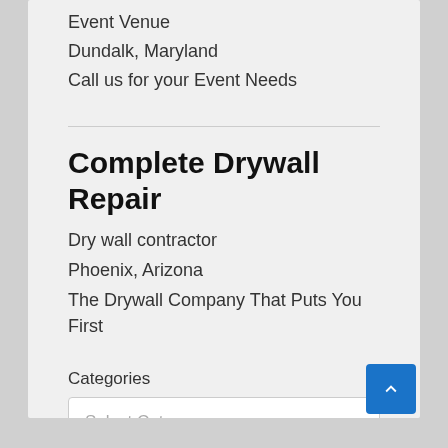Event Venue
Dundalk, Maryland
Call us for your Event Needs
Complete Drywall Repair
Dry wall contractor
Phoenix, Arizona
The Drywall Company That Puts You First
Categories
Select Category